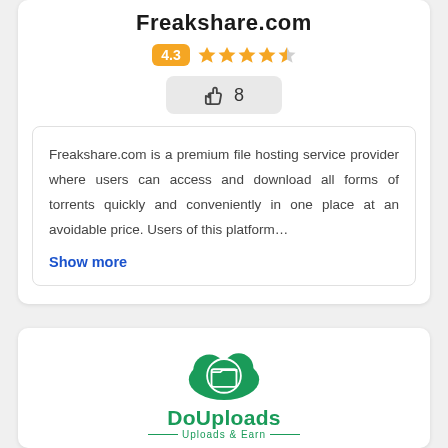Freakshare.com
[Figure (other): Rating: 4.3 badge with 4.5 orange stars]
[Figure (other): Thumbs up icon with count 8]
Freakshare.com is a premium file hosting service provider where users can access and download all forms of torrents quickly and conveniently in one place at an avoidable price. Users of this platform…
Show more
[Figure (logo): DoUploads logo: green cloud with folder icon, text DoUploads and tagline Uploads & Earn]